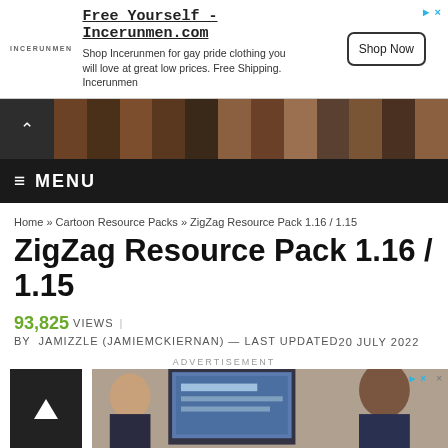[Figure (screenshot): Advertisement banner for Incerunmen.com with logo, headline 'Free Yourself - Incerunmen.com', body text, and Shop Now button]
[Figure (screenshot): Website navigation bar with mosaic brown tile pattern and chevron/collapse icon]
≡ MENU
Home » Cartoon Resource Packs » ZigZag Resource Pack 1.16 / 1.15
ZigZag Resource Pack 1.16 / 1.15
93,825 VIEWS | BY JAMIZZLE (JAMIEMCKIERNAN) — LAST UPDATED 20 JULY 2022
ADVERTISEMENT
[Figure (photo): Advertisement image showing people looking at a computer screen/monitor]